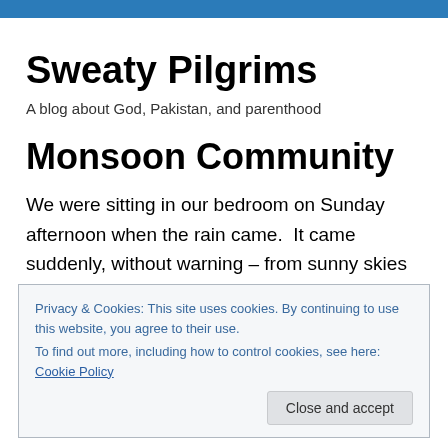Sweaty Pilgrims
A blog about God, Pakistan, and parenthood
Monsoon Community
We were sitting in our bedroom on Sunday afternoon when the rain came.  It came suddenly, without warning – from sunny skies to a torrential downpour in two seconds,
Privacy & Cookies: This site uses cookies. By continuing to use this website, you agree to their use.
To find out more, including how to control cookies, see here: Cookie Policy
[Close and accept]